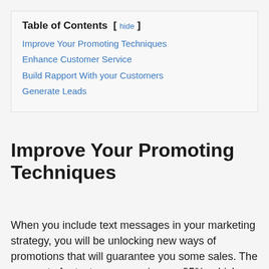| Table of Contents  [ hide ] |
| Improve Your Promoting Techniques |
| Enhance Customer Service |
| Build Rapport With your Customers |
| Generate Leads |
Improve Your Promoting Techniques
When you include text messages in your marketing strategy, you will be unlocking new ways of promotions that will guarantee you some sales. The open rate for text messages is over 95%, which means that 95% of the ti...